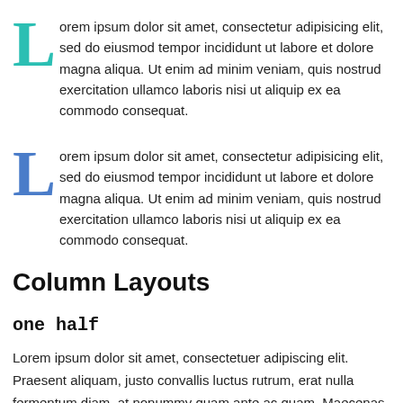Lorem ipsum dolor sit amet, consectetur adipisicing elit, sed do eiusmod tempor incididunt ut labore et dolore magna aliqua. Ut enim ad minim veniam, quis nostrud exercitation ullamco laboris nisi ut aliquip ex ea commodo consequat.
Lorem ipsum dolor sit amet, consectetur adipisicing elit, sed do eiusmod tempor incididunt ut labore et dolore magna aliqua. Ut enim ad minim veniam, quis nostrud exercitation ullamco laboris nisi ut aliquip ex ea commodo consequat.
Column Layouts
one half
Lorem ipsum dolor sit amet, consectetuer adipiscing elit. Praesent aliquam, justo convallis luctus rutrum, erat nulla fermentum diam, at nonummy quam ante ac quam. Maecenas urna purus,